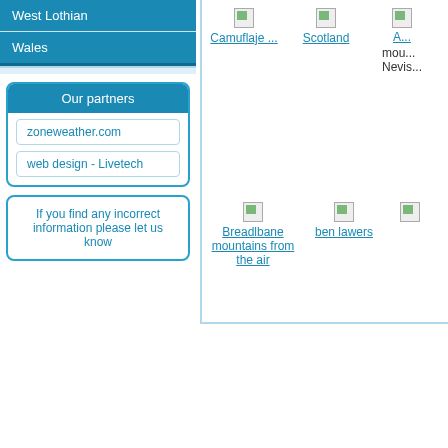West Lothian
Wales
Our partners
zoneweather.com
web design - Livetech
If you find any incorrect information please let us know
[Figure (photo): Camuflaje ... (broken image)]
[Figure (photo): Scotland (broken image)]
[Figure (photo): mountains Ben Nevis (broken image, partially cut off)]
[Figure (photo): Breadlbane mountains from the air (broken image)]
[Figure (photo): ben lawers (broken image)]
[Figure (photo): Another image (broken, partially cut off)]